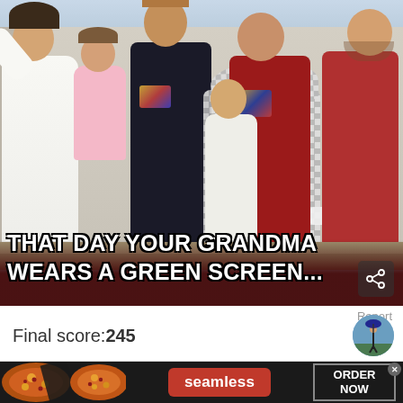[Figure (photo): Photo of the British Royal Family on a balcony, with Queen Elizabeth II wearing a checkered/grey suit (appearing as a green screen effect). Members visible include Kate Middleton waving in white, Princess Charlotte in pink, Prince Harry in black uniform, Prince William in red uniform, Prince George in white, and Prince Edward. A meme caption overlays the bottom of the photo.]
THAT DAY YOUR GRANDMA WEARS A GREEN SCREEN...
Report
Final score:245
[Figure (photo): Small circular avatar/profile photo showing a person with an umbrella]
[Figure (infographic): Seamless food delivery advertisement banner showing pizza on the left, Seamless red logo in center, and ORDER NOW button on the right]